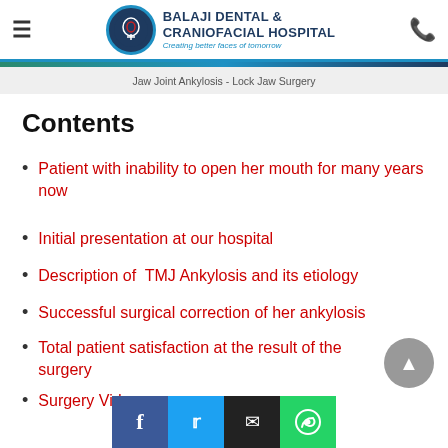BALAJI DENTAL & CRANIOFACIAL HOSPITAL — Creating better faces of tomorrow
Jaw Joint Ankylosis - Lock Jaw Surgery
Contents
Patient with inability to open her mouth for many years now
Initial presentation at our hospital
Description of TMJ Ankylosis and its etiology
Successful surgical correction of her ankylosis
Total patient satisfaction at the result of the surgery
Surgery Video
Share buttons: Facebook, Twitter, Email, WhatsApp